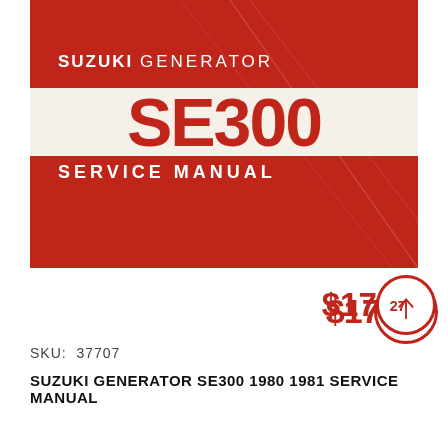[Figure (photo): Cover image of the Suzuki Generator SE300 Service Manual. Red background with white diagonal lines. A white horizontal band in the middle displays 'SE300' in large red bold letters. Above the band 'SUZUKI GENERATOR' in white uppercase letters, below the band 'SERVICE MANUAL' in white uppercase letters.]
$17.27
SKU: 37707
SUZUKI GENERATOR SE300 1980 1981 SERVICE MANUAL